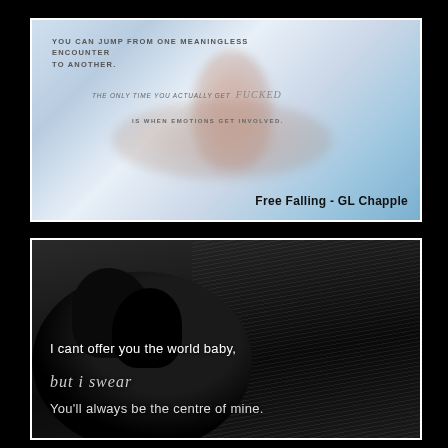[Figure (illustration): Book promotional image with blurred romantic/intimate background in blue-white tones. Text overlay reads: 'YOU CAN JUMP FROM ONE MEANINGLESS ENCOUNTER TO ANOTHER. THE ONLY TIME YOU ACTUALLY GET fucked IS WHEN EMOTIONS GET INVOLVED.' Bottom right title: 'Free Falling - GL Chapple']
[Figure (illustration): Black and white book promotional image showing silhouettes of two people about to kiss in the rain. Text overlay reads: 'I cant offer you the world baby, but i swear, You'll always be the centre of mine.']